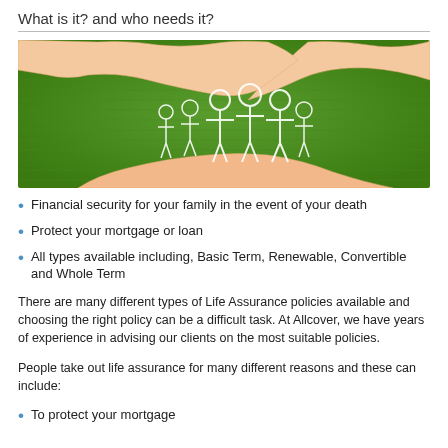What is it? and who needs it?
[Figure (photo): Hands cupping illustrated chalk-drawn family figures on a green grass background]
Financial security for your family in the event of your death
Protect your mortgage or loan
All types available including, Basic Term, Renewable, Convertible and Whole Term
There are many different types of Life Assurance policies available and choosing the right policy can be a difficult task.  At Allcover, we have years of experience in advising our clients on the most suitable policies.
People take out life assurance for many different reasons and these can include:
To protect your mortgage